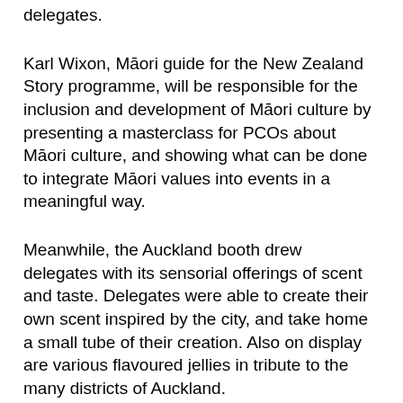delegates.
Karl Wixon, Māori guide for the New Zealand Story programme, will be responsible for the inclusion and development of Māori culture by presenting a masterclass for PCOs about Māori culture, and showing what can be done to integrate Māori values into events in a meaningful way.
Meanwhile, the Auckland booth drew delegates with its sensorial offerings of scent and taste. Delegates were able to create their own scent inspired by the city, and take home a small tube of their creation. Also on display are various flavoured jellies in tribute to the many districts of Auckland.
“Everybody’s stuck in a meeting in a convention hall so we thought about how to bring Auckland to the people using senses we don’t usually use at these events. We had the idea of distilling the city down to 30 different essences and presenting them on the walls today,” said Jess Mentis, founder at the The Jelly Scientist...